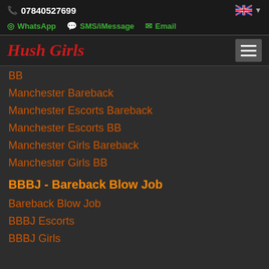07840527699
WhatsApp  SMS/iMessage  Email
Hush Girls
BB
Manchester Bareback
Manchester Escorts Bareback
Manchester Escorts BB
Manchester Girls Bareback
Manchester Girls BB
BBBJ - Bareback Blow Job
Bareback Blow Job
BBBJ Escorts
BBBJ Girls